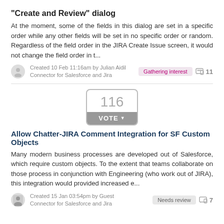"Create and Review" dialog
At the moment, some of the fields in this dialog are set in a specific order while any other fields will be set in no specific order or random. Regardless of the field order in the JIRA Create Issue screen, it would not change the field order in t...
Created 10 Feb 11:16am by Julian Aidil
Connector for Salesforce and Jira
Gathering interest
11
[Figure (other): Vote button widget showing 116 votes with a VOTE dropdown button]
Allow Chatter-JIRA Comment Integration for SF Custom Objects
Many modern business processes are developed out of Salesforce, which require custom objects. To the extent that teams collaborate on those process in conjunction with Engineering (who work out of JIRA), this integration would provided increased e...
Created 15 Jan 03:54pm by Guest
Connector for Salesforce and Jira
Needs review
7